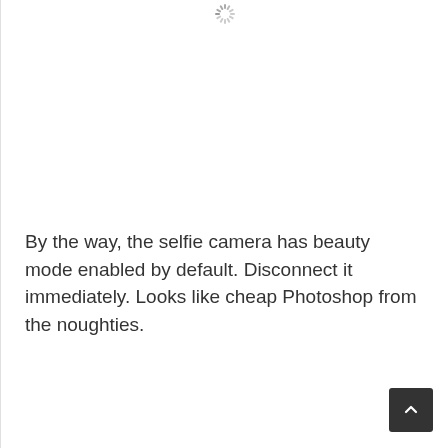[Figure (other): Loading spinner icon at the top center of the page]
By the way, the selfie camera has beauty mode enabled by default. Disconnect it immediately. Looks like cheap Photoshop from the noughties.